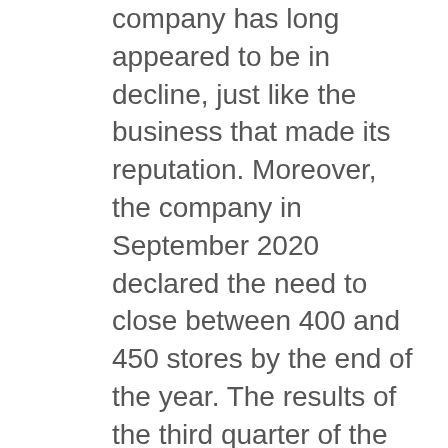company has long appeared to be in decline, just like the business that made its reputation. Moreover, the company in September 2020 declared the need to close between 400 and 450 stores by the end of the year. The results of the third quarter of the fiscal year 2020 showed a decline in net sales of more than 30% compared to the same period in 2019: the pandemic effect is just the ultimate cause, the main trouble lies in the drastic decline in purchases of video games in store in favor of digital ones